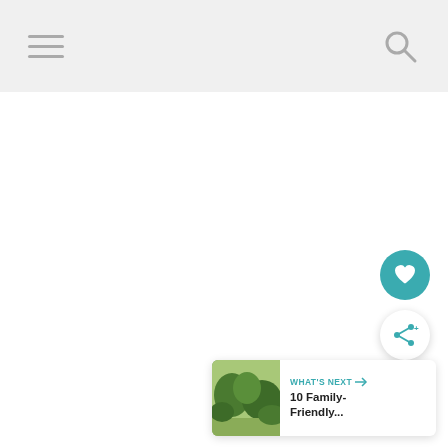[Figure (screenshot): Mobile app navigation bar with hamburger menu icon on the left and search/magnifying glass icon on the right, on a light gray background]
[Figure (screenshot): White blank content area below the navigation bar]
[Figure (infographic): Teal circular FAB button with a white heart icon]
[Figure (infographic): White circular FAB button with a teal share/add icon]
[Figure (screenshot): What's Next card with thumbnail image of a park/nature scene and text '10 Family-Friendly...' with teal arrow label]